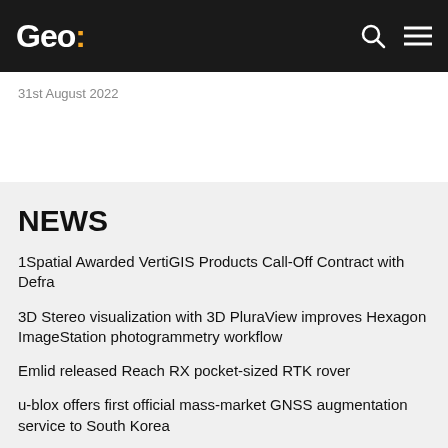Geo:
31st August 2022
NEWS
1Spatial Awarded VertiGIS Products Call-Off Contract with Defra
3D Stereo visualization with 3D PluraView improves Hexagon ImageStation photogrammetry workflow
Emlid released Reach RX pocket-sized RTK rover
u-blox offers first official mass-market GNSS augmentation service to South Korea